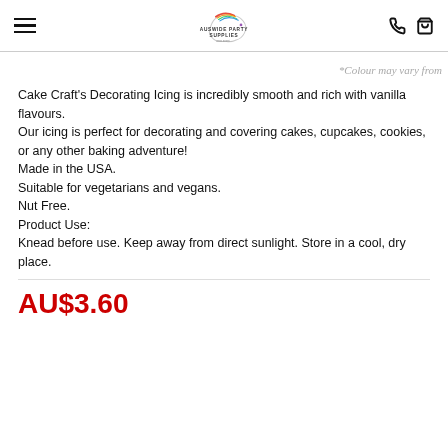Auswide Party Supplies
*Colour may vary from
Cake Craft's Decorating Icing is incredibly smooth and rich with vanilla flavours.
Our icing is perfect for decorating and covering cakes, cupcakes, cookies, or any other baking adventure!
Made in the USA.
Suitable for vegetarians and vegans.
Nut Free.
Product Use:
Knead before use. Keep away from direct sunlight. Store in a cool, dry place.
AU$3.60